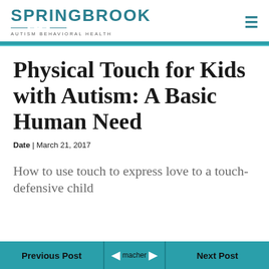SPRINGBROOK AUTISM BEHAVIORAL HEALTH
Physical Touch for Kids with Autism: A Basic Human Need
Date | March 21, 2017
How to use touch to express love to a touch-defensive child
Previous Post | macher | Next Post